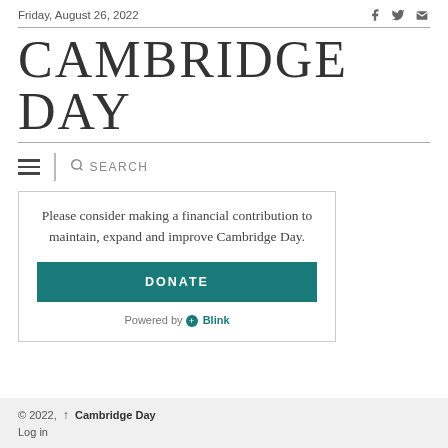Friday, August 26, 2022
CAMBRIDGE DAY
SEARCH
Please consider making a financial contribution to maintain, expand and improve Cambridge Day.
DONATE
Powered by ⓿ Blink
© 2022, ↑ Cambridge Day
Log in